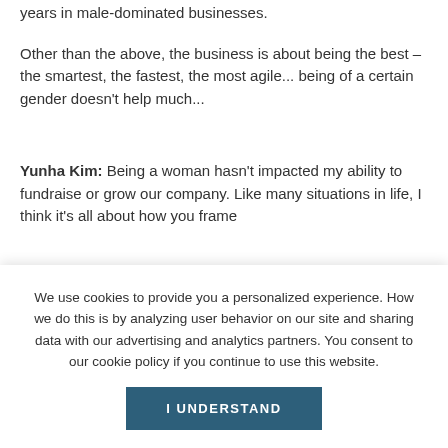years in male-dominated businesses.
Other than the above, the business is about being the best – the smartest, the fastest, the most agile... being of a certain gender doesn't help much...
Yunha Kim: Being a woman hasn't impacted my ability to fundraise or grow our company. Like many situations in life, I think it's all about how you frame...
We use cookies to provide you a personalized experience. How we do this is by analyzing user behavior on our site and sharing data with our advertising and analytics partners. You consent to our cookie policy if you continue to use this website.